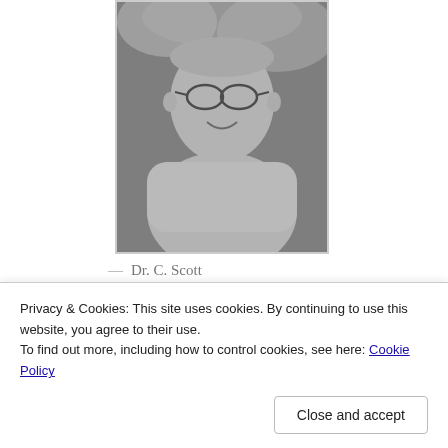[Figure (photo): Black and white photograph of Dr. C. Scott Littleton, an older man with glasses wearing a light-colored jacket, arms crossed, smiling]
— Dr. C. Scott Littleton
[Figure (other): WordPress VIP advertisement banner with 'WVip' logo on left and 'Learn more →' button on orange/peach gradient background]
In addition to not offering any actual evidence to
Privacy & Cookies: This site uses cookies. By continuing to use this website, you agree to their use.
To find out more, including how to control cookies, see here: Cookie Policy
Close and accept